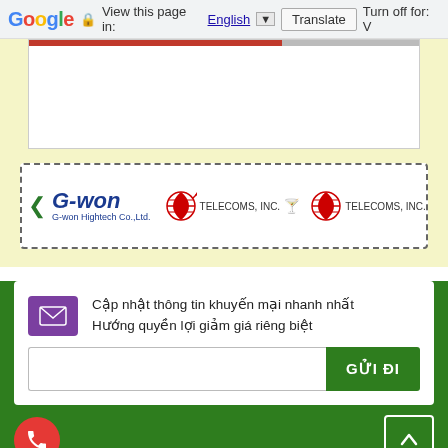Google  View this page in: English  Translate  Turn off for: V
[Figure (screenshot): White content box with red/gray top bar, part of a web page]
[Figure (screenshot): Carousel of partner logos: G-won Hightech Co.,Ltd. and TELECOMS INC logos with navigation arrows]
Cập nhật thông tin khuyến mại nhanh nhất
Hướng quyền lợi giảm giá riêng biệt
GỬI ĐI
[Figure (screenshot): Phone call button (red circle with phone icon) and scroll-to-top button (green with up arrow)]
CÔNG TY CỔ PHẦN AS GROUP